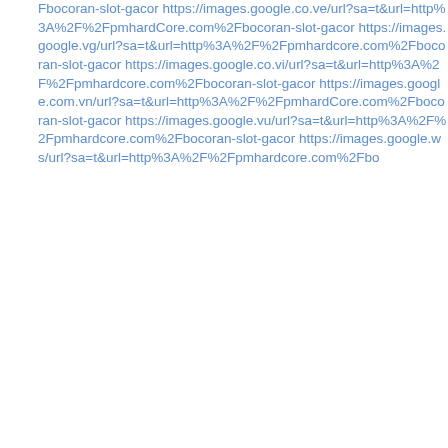Fbocoran-slot-gacor https://images.google.co.ve/url?sa=t&url=http%3A%2F%2FpmhardCore.com%2Fbocoran-slot-gacor https://images.google.vg/url?sa=t&url=http%3A%2F%2Fpmhardcore.com%2Fbocoran-slot-gacor https://images.google.co.vi/url?sa=t&url=http%3A%2F%2Fpmhardcore.com%2Fbocoran-slot-gacor https://images.google.com.vn/url?sa=t&url=http%3A%2F%2FpmhardCore.com%2Fbocoran-slot-gacor https://images.google.vu/url?sa=t&url=http%3A%2F%2Fpmhardcore.com%2Fbocoran-slot-gacor https://images.google.ws/url?sa=t&url=http%3A%2F%2Fpmhardcore.com%2Fbo